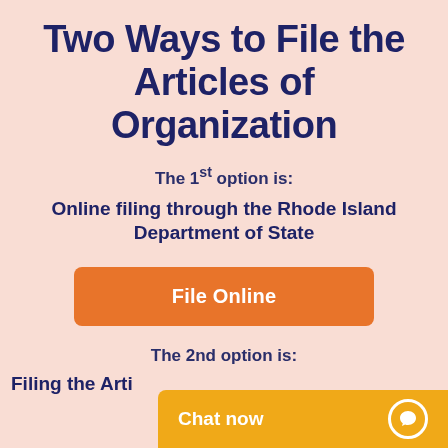Two Ways to File the Articles of Organization
The 1st option is:
Online filing through the Rhode Island Department of State
File Online
The 2nd option is:
Filing the Arti…
Chat now